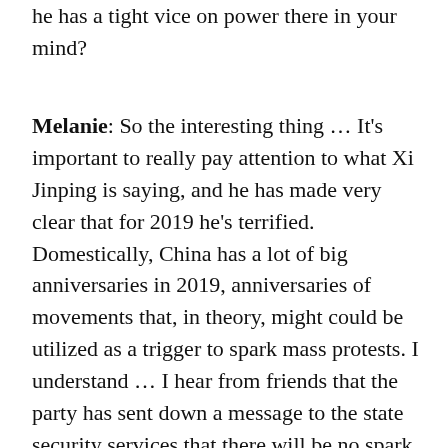he has a tight vice on power there in your mind?
Melanie: So the interesting thing … It's important to really pay attention to what Xi Jinping is saying, and he has made very clear that for 2019 he's terrified. Domestically, China has a lot of big anniversaries in 2019, anniversaries of movements that, in theory, might could be utilized as a trigger to spark mass protests. I understand … I hear from friends that the party has sent down a message to the state security services that there will be no spark. So, they have no faith that the smallest spark could be managed, so